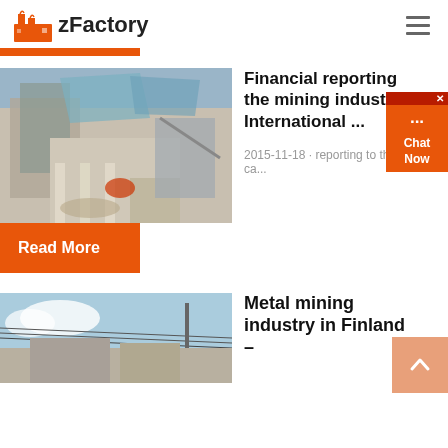zFactory
[Figure (screenshot): zFactory website screenshot showing logo, hamburger menu, orange accent bar, article cards with mining images, chat widget, and scroll-up button]
Financial reporting the mining industry International ...
2015-11-18 · reporting to the ca...
Read More
Metal mining industry in Finland –